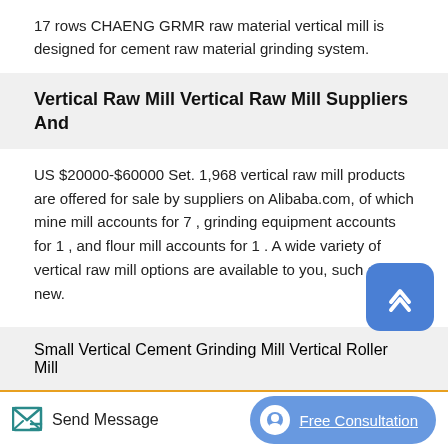17 rows CHAENG GRMR raw material vertical mill is designed for cement raw material grinding system.
Vertical Raw Mill Vertical Raw Mill Suppliers And
US $20000-$60000 Set. 1,968 vertical raw mill products are offered for sale by suppliers on Alibaba.com, of which mine mill accounts for 7 , grinding equipment accounts for 1 , and flour mill accounts for 1 . A wide variety of vertical raw mill options are available to you, such as new.
Small Vertical Cement Grinding Mill Vertical Roller Mill
Vertical Cement Grinding Mill produced by China ZK Corp is is a new type of high efficiency, energy conservation and environmental protection of grinding equipment, widely used